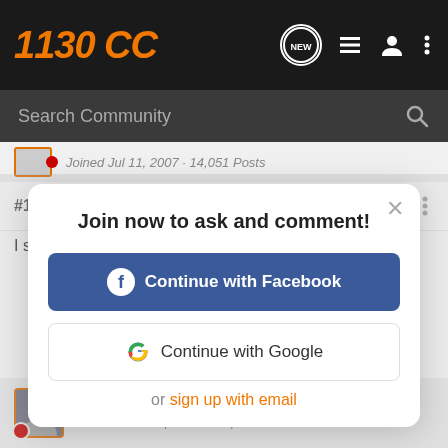1130 CC
Search Community
Joined Jul 11, 2007 · 14,051 Posts
#17 · Oct 27, 2010
Join now to ask and comment!
Continue with Facebook
Continue with Google
or sign up with email
ElrodontheV-Rod · durata membro
Joined Dec 13, 2003 · 17,603 Posts